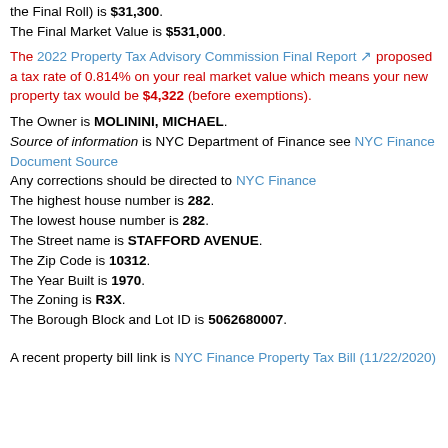the Final Roll) is $31,300. The Final Market Value is $531,000.
The 2022 Property Tax Advisory Commission Final Report proposed a tax rate of 0.814% on your real market value which means your new property tax would be $4,322 (before exemptions).
The Owner is MOLININI, MICHAEL. Source of information is NYC Department of Finance see NYC Finance Document Source Any corrections should be directed to NYC Finance The highest house number is 282. The lowest house number is 282. The Street name is STAFFORD AVENUE. The Zip Code is 10312. The Year Built is 1970. The Zoning is R3X. The Borough Block and Lot ID is 5062680007.
A recent property bill link is NYC Finance Property Tax Bill (11/22/2020)